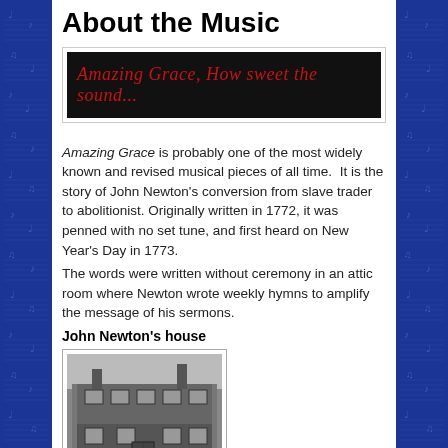About the Music
[Figure (other): Dark banner with red italic cursive text reading: Amazing Grace, How sweet the sound...]
Amazing Grace is probably one of the most widely known and revised musical pieces of all time. It is the story of John Newton's conversion from slave trader to abolitionist. Originally written in 1772, it was penned with no set tune, and first heard on New Year's Day in 1773.
The words were written without ceremony in an attic room where Newton wrote weekly hymns to amplify the message of his sermons.
John Newton's house
[Figure (photo): Black and white photograph of John Newton's house, a two-storey brick building with multiple windows and chimneys.]